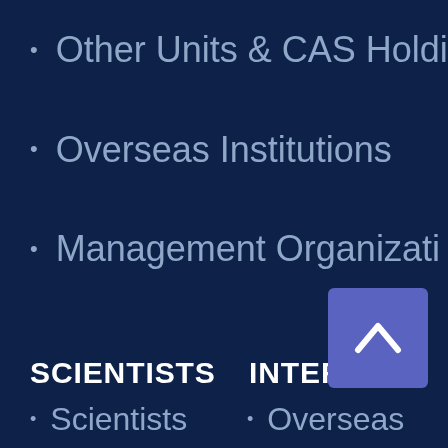Other Units & CAS Holdi
Overseas Institutions
Management Organizati
SCIENTISTS
INTERNAT
Scientists
Overseas